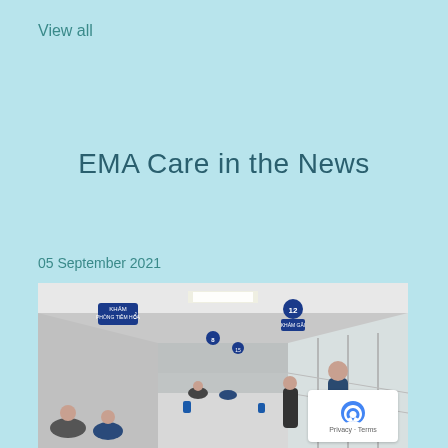View all
EMA Care in the News
05 September 2021
[Figure (photo): Hospital corridor with patients waiting along the walls. Blue numbered signs hang from the ceiling. The hallway extends into the background with people seated and standing.]